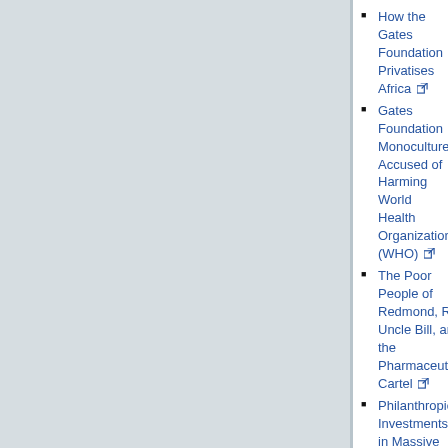How the Gates Foundation Privatises Africa [external link]
Gates Foundation Monoculture Accused of Harming World Health Organization (WHO) [external link]
The Poor People of Redmond, Rich Uncle Bill, and the Pharmaceutical Cartel [external link]
Philanthropic Investments in Massive Chains of Retailers [external link]
How the Gates Foundation Helps Getting Children Addicted [external link]
Reader's Article: The Gates Foundation and Genetically-Modified Foods [external link]
Microsoft Corporation Joins Hand with the Pharmaceutical Cartel [external link]
Microsoft Colonisation in Thailand and Peru [external link]
Bill Gates Uses Malaria to Attack GNU/Linux [external link]
What Rockefeller and Gates Have in Common [external link]
The Pharmaceutical Cartel [external link]
The Revisionist Gates/Microsoft PR